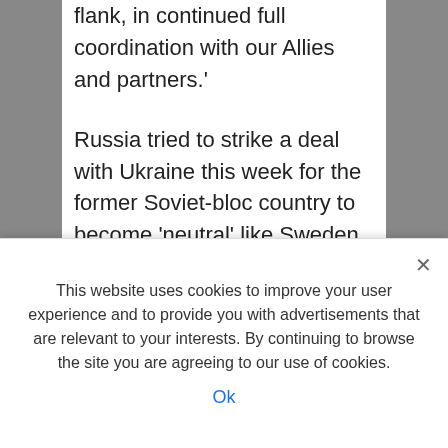flank, in continued full coordination with our Allies and partners.'
Russia tried to strike a deal with Ukraine this week for the former Soviet-bloc country to become 'neutral' like Sweden or Austria after several rounds of peace talks have done nothing to quell the violence and bloodshed in Eastern Europe.
Moscow is reportedly demanding Ukraine
This website uses cookies to improve your user experience and to provide you with advertisements that are relevant to your interests. By continuing to browse the site you are agreeing to our use of cookies.
Ok